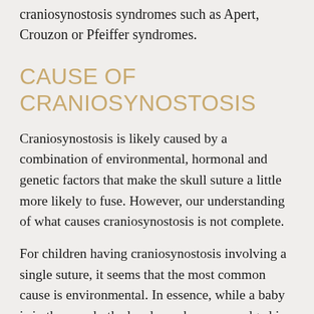craniosynostosis syndromes such as Apert, Crouzon or Pfeiffer syndromes.
CAUSE OF CRANIOSYNOSTOSIS
Craniosynostosis is likely caused by a combination of environmental, hormonal and genetic factors that make the skull suture a little more likely to fuse. However, our understanding of what causes craniosynostosis is not complete.
For children having craniosynostosis involving a single suture, it seems that the most common cause is environmental. In essence, while a baby is in the womb, the head may become wedged in a tight spot, putting pressure on the skull and impairing skull